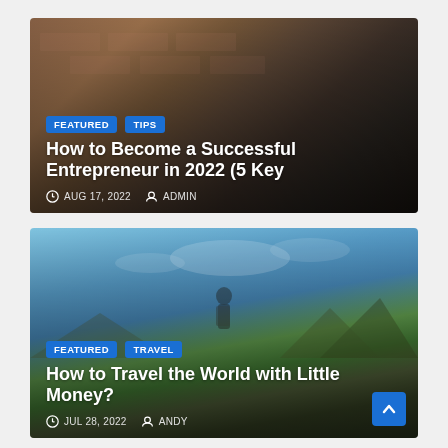[Figure (photo): Blog card 1: Office meeting scene with brick wall background. Tags: FEATURED, TIPS. Title: How to Become a Successful Entrepreneur in 2022 (5 Key. Date: AUG 17, 2022. Author: ADMIN.]
[Figure (photo): Blog card 2: Mountain travel scene with hiker and backpack. Tags: FEATURED, TRAVEL. Title: How to Travel the World with Little Money? Date: JUL 28, 2022. Author: ANDY.]